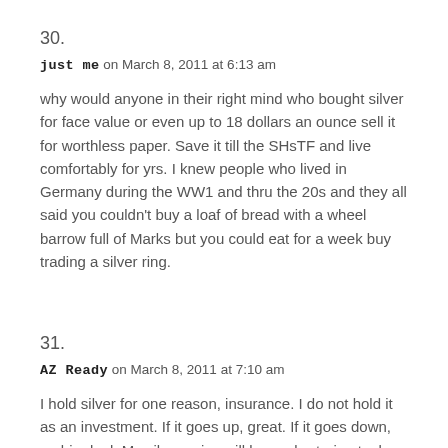30.
just me on March 8, 2011 at 6:13 am
why would anyone in their right mind who bought silver for face value or even up to 18 dollars an ounce sell it for worthless paper. Save it till the SHsTF and live comfortably for yrs. I knew people who lived in Germany during the WW1 and thru the 20s and they all said you couldn't buy a loaf of bread with a wheel barrow full of Marks but you could eat for a week buy trading a silver ring.
31.
AZ Ready on March 8, 2011 at 7:10 am
I hold silver for one reason, insurance. I do not hold it as an investment. If it goes up, great. If it goes down, no big deal. My silver coins will be my bartering tool as well